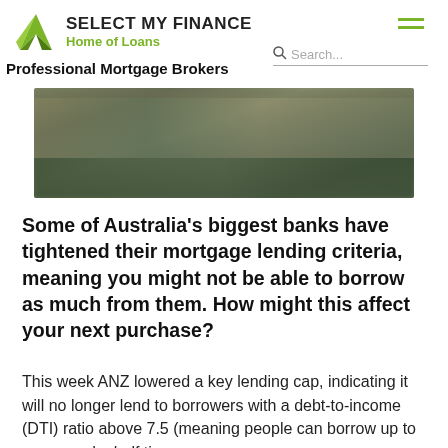SELECT MY FINANCE | Home of Loans | Professional Mortgage Brokers
[Figure (photo): Blurred aerial/street-level photo of a suburban neighbourhood with houses and trees, used as a hero image for a mortgage article.]
Some of Australia's biggest banks have tightened their mortgage lending criteria, meaning you might not be able to borrow as much from them. How might this affect your next purchase?
This week ANZ lowered a key lending cap, indicating it will no longer lend to borrowers with a debt-to-income (DTI) ratio above 7.5 (meaning people can borrow up to seven and a half times